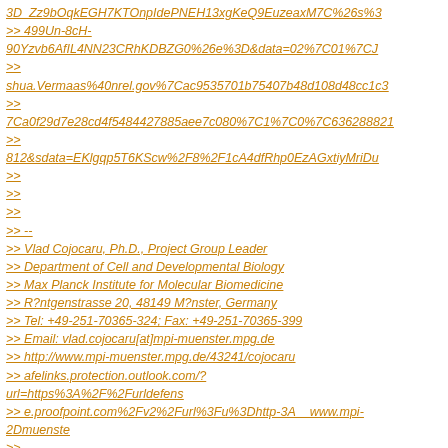3D_Zz9bOqkEGH7KTOnpIdePNEH13xgKeQ9EuzeaxM7C%26s%3 >> 499Un-8cH-90Yzvb6AfIL4NN23CRhKDBZG0%26e%3D&data=02%7C01%7CJ >> shua.Vermaas%40nrel.gov%7Cac9535701b75407b48d108d48cc1c3 >> 7Ca0f29d7e28cd4f5484427885aee7c080%7C1%7C0%7C636288821 >> 812&sdata=EKlgqp5T6KScw%2F8%2F1cA4dfRhp0EzAGxtiyMriDu >> >> >> >> >> -- >> Vlad Cojocaru, Ph.D., Project Group Leader >> Department of Cell and Developmental Biology >> Max Planck Institute for Molecular Biomedicine >> R?ntgenstrasse 20, 48149 M?nster, Germany >> Tel: +49-251-70365-324; Fax: +49-251-70365-399 >> Email: vlad.cojocaru[at]mpi-muenster.mpg.de >> http://www.mpi-muenster.mpg.de/43241/cojocaru >> afelinks.protection.outlook.com/?url=https%3A%2F%2Furldefens >> e.proofpoint.com%2Fv2%2Furl%3Fu%3Dhttp-3A__www.mpi-2Dmuenste >> >>